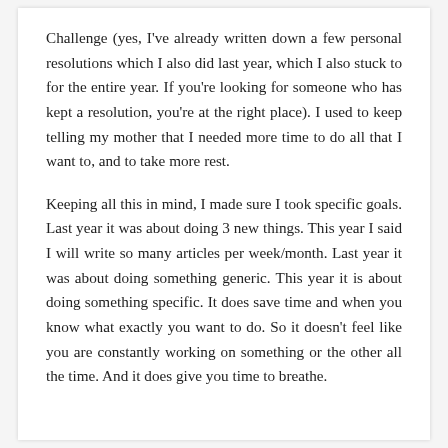Challenge (yes, I've already written down a few personal resolutions which I also did last year, which I also stuck to for the entire year. If you're looking for someone who has kept a resolution, you're at the right place). I used to keep telling my mother that I needed more time to do all that I want to, and to take more rest.
Keeping all this in mind, I made sure I took specific goals. Last year it was about doing 3 new things. This year I said I will write so many articles per week/month. Last year it was about doing something generic. This year it is about doing something specific. It does save time and when you know what exactly you want to do. So it doesn't feel like you are constantly working on something or the other all the time. And it does give you time to breathe.